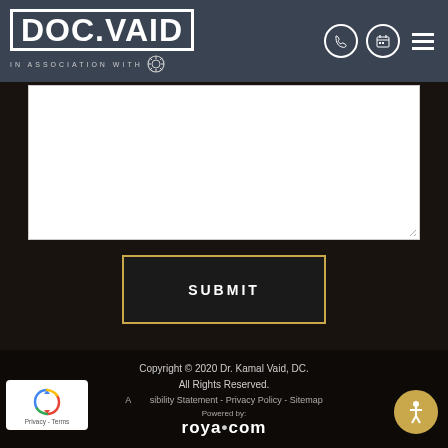[Figure (logo): DOC.VAID logo in white text on dark blue-gray header bar, with 'IN ASSOCIATION WITH' text and gear icon, plus phone, calendar and hamburger menu icons on the right]
[Figure (screenshot): White textarea form input box with resize handle in bottom-right corner]
SUBMIT
Copyright © 2020 Dr. Kamal Vaid, DC. All Rights Reserved.
Accessibility Statement - Privacy Policy - Sitemap
Powered by:
roya.com
[Figure (logo): reCAPTCHA badge with rotating arrows icon and Privacy - Terms text]
[Figure (logo): Accessibility icon - person in circle with gold border]